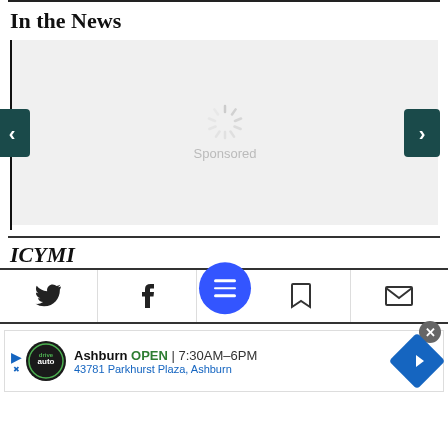In the News
[Figure (other): Sponsored content carousel with left and right navigation arrows, showing a loading spinner and 'Sponsored' text on a light gray background.]
ICYMI
[Figure (infographic): Navigation bar with Twitter bird icon, Facebook 'f' icon, blue circular hamburger menu button (FAB), bookmark icon, and mail envelope icon.]
[Figure (infographic): Advertisement bar for a drive auto business in Ashburn showing OPEN 7:30AM-6PM, address 43781 Parkhurst Plaza, Ashburn, with logo and navigation arrow icon. Close button in top right.]